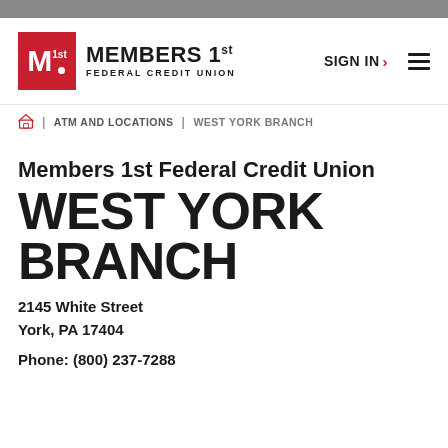[Figure (logo): Members 1st Federal Credit Union logo with red M box and text]
SIGN IN > ≡
🏠 | ATM AND LOCATIONS | WEST YORK BRANCH
Members 1st Federal Credit Union
WEST YORK BRANCH
2145 White Street
York, PA 17404
Phone: (800) 237-7288